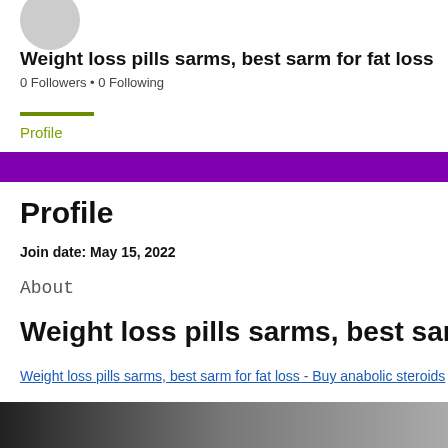[Figure (illustration): Circular avatar placeholder in light gray]
Weight loss pills sarms, best sarm for fat loss
0 Followers • 0 Following
Profile
Profile
Join date: May 15, 2022
About
Weight loss pills sarms, best sarm for fat
Weight loss pills sarms, best sarm for fat loss - Buy anabolic steroids
[Figure (photo): Dark gradient image at bottom of page]